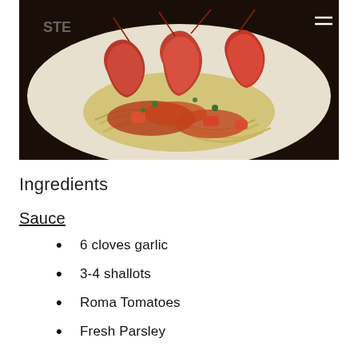[Figure (photo): A plate of shrimp scampi with linguine pasta and tomato sauce, served on a white plate]
Ingredients
Sauce
6 cloves garlic
3-4 shallots
Roma Tomatoes
Fresh Parsley